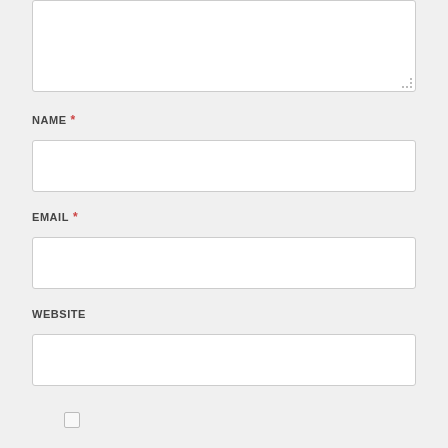[Figure (screenshot): Partial textarea form field at top of page showing white text area with resize handle in bottom-right corner]
NAME *
[Figure (screenshot): Text input field for NAME]
EMAIL *
[Figure (screenshot): Text input field for EMAIL]
WEBSITE
[Figure (screenshot): Text input field for WEBSITE]
[Figure (screenshot): Checkbox input at the bottom of the form]